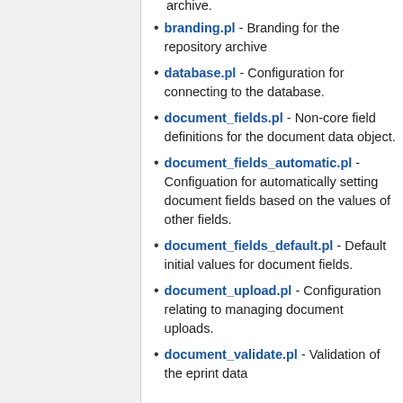branding.pl - Branding for the repository archive
database.pl - Configuration for connecting to the database.
document_fields.pl - Non-core field definitions for the document data object.
document_fields_automatic.pl - Configuation for automatically setting document fields based on the values of other fields.
document_fields_default.pl - Default initial values for document fields.
document_upload.pl - Configuration relating to managing document uploads.
document_validate.pl - Validation of the eprint data